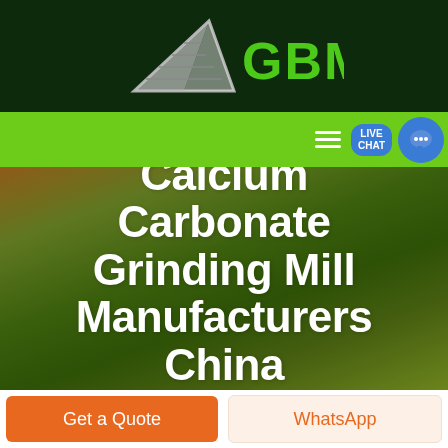GBM
[Figure (logo): GBM company logo with triangular arrow shape and green GBM text on dark green background]
[Figure (photo): Aerial landscape photo of fields with warm golden and green tones, used as hero background image]
Calcium Carbonate Grinding Mill Manufacturers China
Get a Quote
WhatsApp